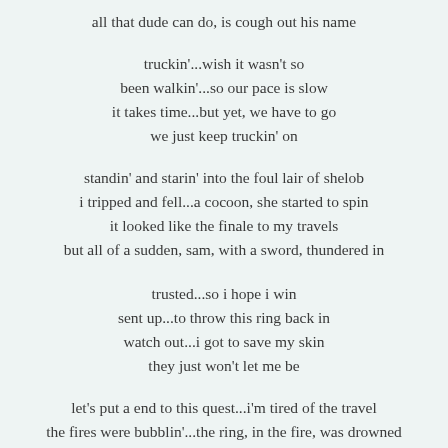all that dude can do, is cough out his name
truckin'...wish it wasn't so
been walkin'...so our pace is slow
it takes time...but yet, we have to go
we just keep truckin' on
standin' and starin' into the foul lair of shelob
i tripped and fell...a cocoon, she started to spin
it looked like the finale to my travels
but all of a sudden, sam, with a sword, thundered in
trusted...so i hope i win
sent up...to throw this ring back in
watch out...i got to save my skin
they just won't let me be
let's put a end to this quest...i'm tired of the travel
the fires were bubblin'...the ring, in the fire, was drowned
i guess i have revoked his soul...he's dyin'
theerings were eased into servise odd listed